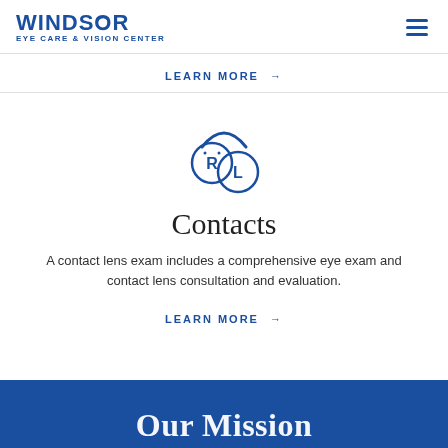Windsor Eye Care & Vision Center
LEARN MORE →
[Figure (illustration): Contact lens icon showing two circular lenses labeled R and L with a case lid above them, drawn in blue outline style]
Contacts
A contact lens exam includes a comprehensive eye exam and contact lens consultation and evaluation.
LEARN MORE →
Our Mission